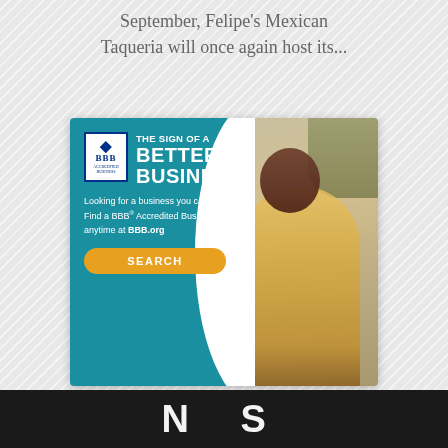September, Felipe's Mexican Taqueria will once again host its...
[Figure (illustration): BBB (Better Business Bureau) advertisement banner. Teal background on left with BBB Accredited Business logo, text 'THE SIGN OF A BETTER BUSINESS.', body text 'Looking for a business you can trust? Find a BBB® Accredited Business anytime at BBB.org', yellow SEARCH button. Right side shows photo of smiling woman in yellow jacket handing a bag.]
N...S...